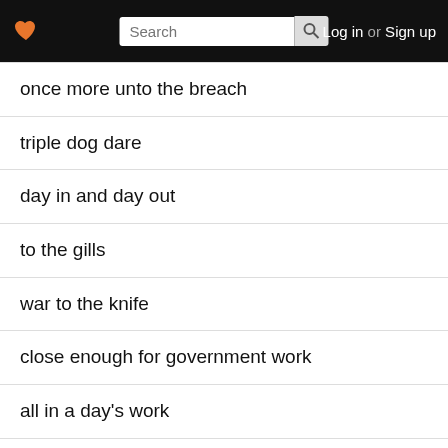Log in or Sign up
once more unto the breach
triple dog dare
day in and day out
to the gills
war to the knife
close enough for government work
all in a day's work
they don't make them like this anymore
they don't make them like they used to